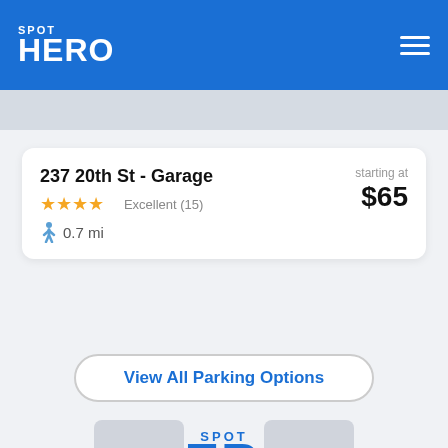SPOT HERO
237 20th St - Garage
Excellent (15) | starting at $65
0.7 mi
View All Parking Options
[Figure (logo): SpotHero logo with SPOT in small caps above and HERO in large bold blue text]